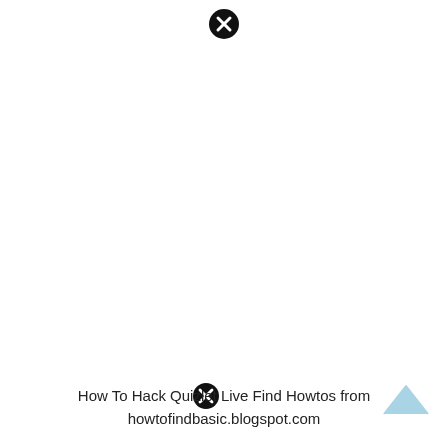[Figure (other): Black circle with white X close button icon at top center]
[Figure (other): Black circle with white X close button icon at middle center]
How To Hack Quizlet Live Find Howtos from howtofindbasic.blogspot.com
[Figure (other): Light blue chevron/arrow up icon at bottom right]